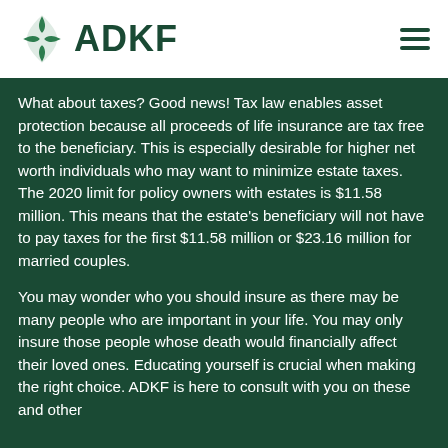ADKF
What about taxes? Good news! Tax law enables asset protection because all proceeds of life insurance are tax free to the beneficiary. This is especially desirable for higher net worth individuals who may want to minimize estate taxes. The 2020 limit for policy owners with estates is $11.58 million. This means that the estate's beneficiary will not have to pay taxes for the first $11.58 million or $23.16 million for married couples.
You may wonder who you should insure as there may be many people who are important in your life. You may only insure those people whose death would financially affect their loved ones. Educating yourself is crucial when making the right choice. ADKF is here to consult with you on these and other